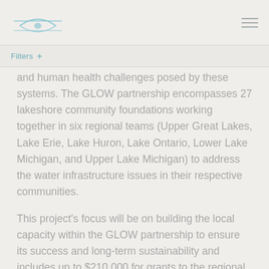[Logo] [Navigation menu]
Filters +
and human health challenges posed by these systems. The GLOW partnership encompasses 27 lakeshore community foundations working together in six regional teams (Upper Great Lakes, Lake Erie, Lake Huron, Lake Ontario, Lower Lake Michigan, and Upper Lake Michigan) to address the water infrastructure issues in their respective communities.
This project's focus will be on building the local capacity within the GLOW partnership to ensure its success and long-term sustainability and includes up to $210,000 for grants to the regional teams to maintain the continuity of the water-focused action